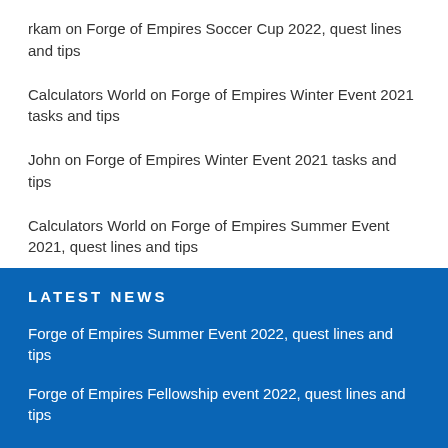rkam on Forge of Empires Soccer Cup 2022, quest lines and tips
Calculators World on Forge of Empires Winter Event 2021 tasks and tips
John on Forge of Empires Winter Event 2021 tasks and tips
Calculators World on Forge of Empires Summer Event 2021, quest lines and tips
LATEST NEWS
Forge of Empires Summer Event 2022, quest lines and tips
Forge of Empires Fellowship event 2022, quest lines and tips
Forge of Empires Wildlife event 2022, quest lines and tips